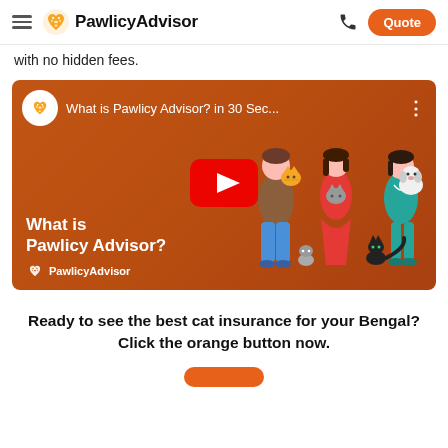PawlicyAdvisor — navigation header with hamburger menu, logo, phone icon, and Quote button
with no hidden fees.
[Figure (screenshot): YouTube video thumbnail for 'What is Pawlicy Advisor? in 30 Sec...' — orange background with animated characters (man with cat on shoulder, woman in red holding cat, veterinarian in teal holding dog, black cat) and a red YouTube play button in the center. Lower left shows 'What is Pawlicy Advisor?' text and PawlicyAdvisor logo.]
Ready to see the best cat insurance for your Bengal?
Click the orange button now.